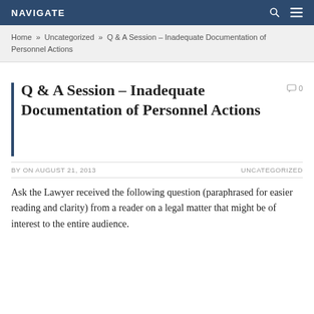NAVIGATE
Home » Uncategorized » Q & A Session – Inadequate Documentation of Personnel Actions
Q & A Session – Inadequate Documentation of Personnel Actions
BY ON AUGUST 21, 2013   UNCATEGORIZED
Ask the Lawyer received the following question (paraphrased for easier reading and clarity) from a reader on a legal matter that might be of interest to the entire audience.